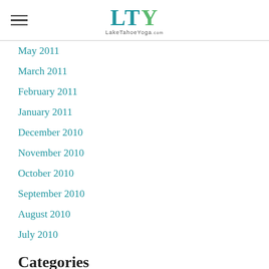LTY Lake Tahoe Yoga
May 2011
March 2011
February 2011
January 2011
December 2010
November 2010
October 2010
September 2010
August 2010
July 2010
Categories
All
2010
8 Limbs
Abhyasa
Accessible Yoga